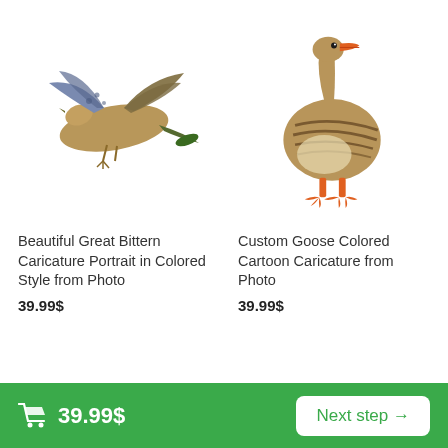[Figure (photo): Flying Great Bittern bird with wings spread, viewed from above, brown/blue/tan plumage against white background]
Beautiful Great Bittern Caricature Portrait in Colored Style from Photo
39.99$
[Figure (photo): Goose standing and walking, brown/tan body with orange beak and orange legs/feet, white belly, against white background]
Custom Goose Colored Cartoon Caricature from Photo
39.99$
🛒 39.99$   Next step →